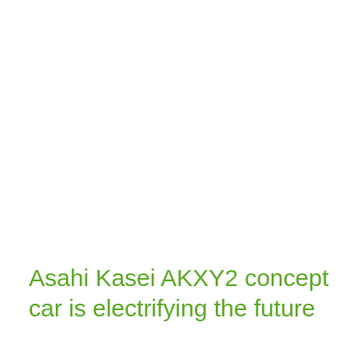Asahi Kasei AKXY2 concept car is electrifying the future